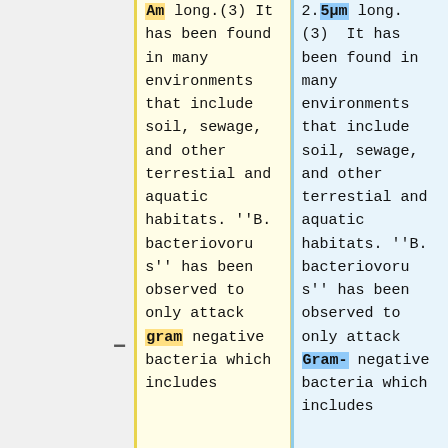Am long.(3) It has been found in many environments that include soil, sewage, and other terrestial and aquatic habitats. ''B. bacteriovorus'' has been observed to only attack gram negative bacteria which includes
2.5μm long. (3) It has been found in many environments that include soil, sewage, and other terrestial and aquatic habitats. ''B. bacteriovorus'' has been observed to only attack Gram- negative bacteria which includes